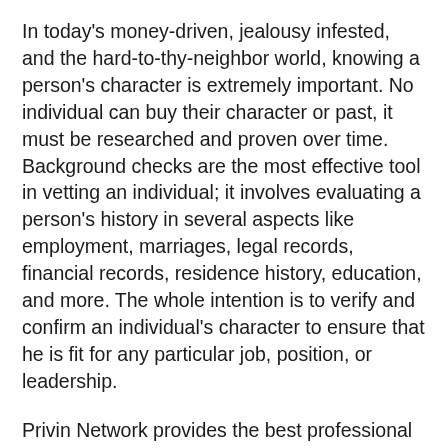In today's money-driven, jealousy infested, and the hard-to-thy-neighbor world, knowing a person's character is extremely important. No individual can buy their character or past, it must be researched and proven over time. Background checks are the most effective tool in vetting an individual; it involves evaluating a person's history in several aspects like employment, marriages, legal records, financial records, residence history, education, and more. The whole intention is to verify and confirm an individual's character to ensure that he is fit for any particular job, position, or leadership.
Privin Network provides the best professional background check services to employers in Truckee, CA, and its surrounding areas. Our investigative team consists of certified investigators of various backgrounds who provide the most comprehensive and professional approach to our clients. Equipped with unrivaled resources and a desire to serve, our